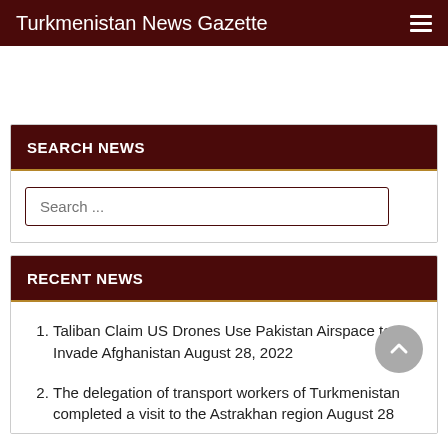Turkmenistan News Gazette
SEARCH NEWS
Search ...
RECENT NEWS
Taliban Claim US Drones Use Pakistan Airspace to Invade Afghanistan August 28, 2022
The delegation of transport workers of Turkmenistan completed a visit to the Astrakhan region August 28